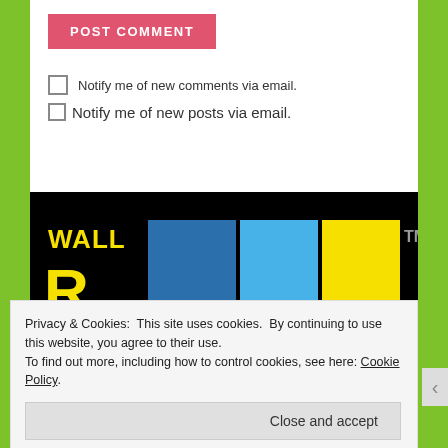POST COMMENT
Notify me of new comments via email.
Notify me of new posts via email.
[Figure (logo): WallR logo on black background with yellow text WALL and letter R, blue and yellow color blocks, and TM symbol]
Privacy & Cookies: This site uses cookies. By continuing to use this website, you agree to their use. To find out more, including how to control cookies, see here: Cookie Policy
Close and accept